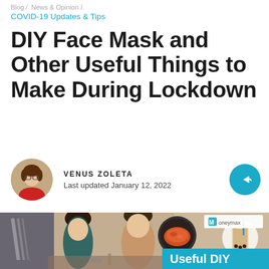Blog / News & Opinion /
COVID-19 Updates & Tips
DIY Face Mask and Other Useful Things to Make During Lockdown
VENUS ZOLETA
Last updated January 12, 2022
[Figure (photo): Hero image showing two people crafting/making things at a table, with inset circles of food (kimchi bowl, boba tea drink), a Moneymax logo in top right, and a blue banner at bottom reading 'Useful DIY']